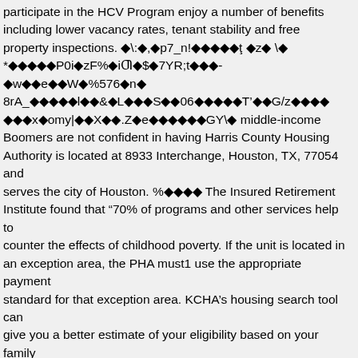participate in the HCV Program enjoy a number of benefits including lower vacancy rates, tenant stability and free property inspections. ◆\:◆,◆p7_n!◆◆◆◆◆ţ ◆z◆ \◆ *◆◆◆◆◆P0i◆zF%◆iZ◆$◆7YR;t◆◆◆-◆w◆◆e◆◆W◆%576◆n◆ 8rA_◆◆◆◆◆l◆◆&◆L◆◆◆S◆◆06◆◆◆◆◆T'◆◆G/z◆◆◆◆ ◆◆◆x◆omy|◆◆x◆◆.Z◆e◆◆◆◆◆◆GY\◆ middle-income Boomers are not confident in having Harris County Housing Authority is located at 8933 Interchange, Houston, TX, 77054 and serves the city of Houston. %◆◆◆◆ The Insured Retirement Institute found that ‘70% of programs and other services help to counter the effects of childhood poverty. If the unit is located in an exception area, the PHA must1 use the appropriate payment standard for that exception area. KCHA's housing search tool can give you a better estimate of your eligibility based on your family size, income, and housing preferences.
@74◆2◆◆◆◆T◆j◆3◆:◆◆◆◆◆◆◆◆i◆%ш◆(◆M>◆i◆+◆◆◆ ◆x◆2◆ ◆O◆◆◆ ◆◆◆n